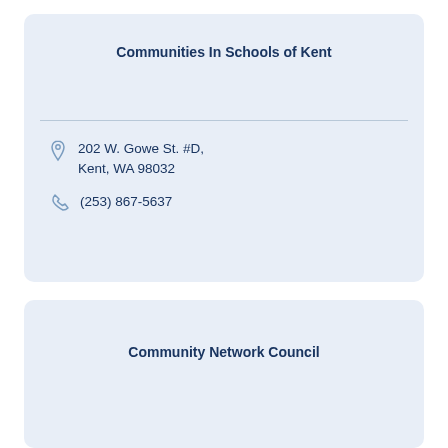Communities In Schools of Kent
202 W. Gowe St. #D, Kent, WA 98032
(253) 867-5637
Community Network Council